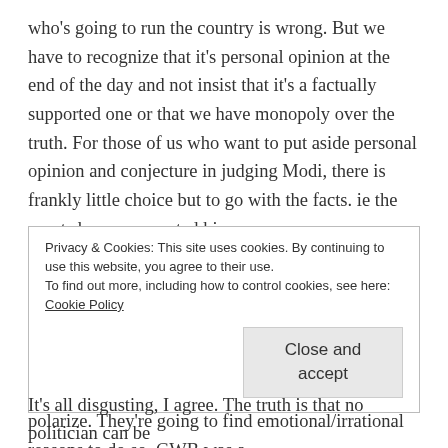who's going to run the country is wrong. But we have to recognize that it's personal opinion at the end of the day and not insist that it's a factually supported one or that we have monopoly over the truth. For those of us who want to put aside personal opinion and conjecture in judging Modi, there is frankly little choice but to go with the facts. ie the courts have exonerated him.
This Modi affair is quite amazing in how it's polarizing. Reminds me of how voters view Hillary Clinton (no, I'm not saying Modi = Hillary. quite poles apart. 🙂 ) in the US. What I've observed is that people are going to polarize if they want to polarize. They're going to find emotional/irrational reasons to do so. GWB was a
Privacy & Cookies: This site uses cookies. By continuing to use this website, you agree to their use.
To find out more, including how to control cookies, see here: Cookie Policy
[Close and accept]
It's all disgusting, I agree. The truth is that no politician can be